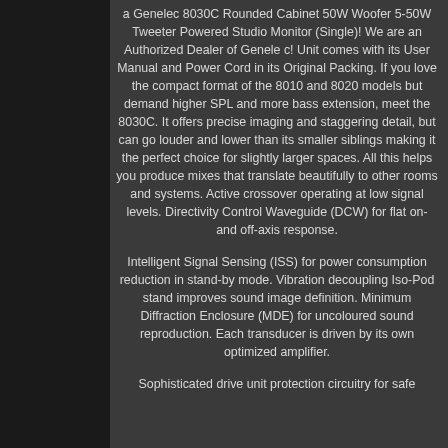a Genelec 8030C Rounded Cabinet 50W Woofer 5-50W Tweeter Powered Studio Monitor (Single)! We are an Authorized Dealer of Genele c! Unit comes with its User Manual and Power Cord in its Original Packing. If you love the compact format of the 8010 and 8020 models but demand higher SPL and more bass extension, meet the 8030C. It offers precise imaging and staggering detail, but can go louder and lower than its smaller siblings making it the perfect choice for slightly larger spaces. All this helps you produce mixes that translate beautifully to other rooms and systems. Active crossover operating at low signal levels. Directivity Control Waveguide (DCW) for flat on- and off-axis response.
Intelligent Signal Sensing (ISS) for power consumption reduction in stand-by mode. Vibration decoupling Iso-Pod stand improves sound image definition. Minimum Diffraction Enclosure (MDE) for uncoloured sound reproduction. Each transducer is driven by its own optimized amplifier.
Sophisticated drive unit protection circuitry for safe